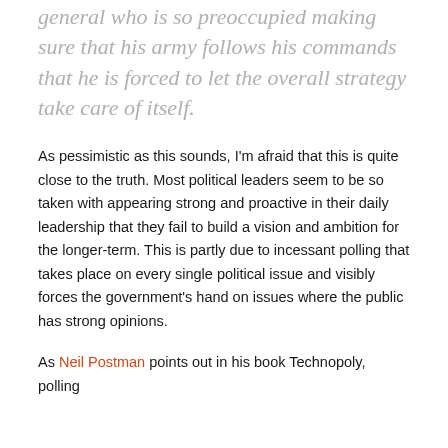general who is so preoccupied making sure that his army follows his commands that he is forced to let the overall strategy take care of itself.
As pessimistic as this sounds, I'm afraid that this is quite close to the truth. Most political leaders seem to be so taken with appearing strong and proactive in their daily leadership that they fail to build a vision and ambition for the longer-term. This is partly due to incessant polling that takes place on every single political issue and visibly forces the government's hand on issues where the public has strong opinions.
As Neil Postman points out in his book Technopoly, polling